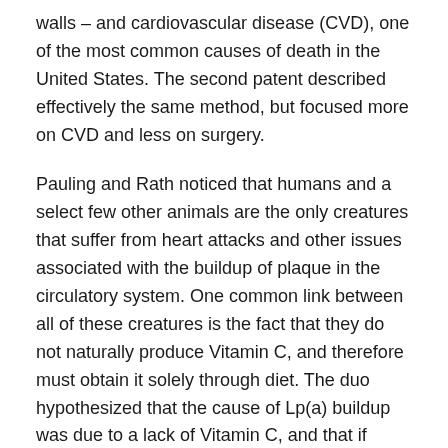walls – and cardiovascular disease (CVD), one of the most common causes of death in the United States. The second patent described effectively the same method, but focused more on CVD and less on surgery.
Pauling and Rath noticed that humans and a select few other animals are the only creatures that suffer from heart attacks and other issues associated with the buildup of plaque in the circulatory system. One common link between all of these creatures is the fact that they do not naturally produce Vitamin C, and therefore must obtain it solely through diet. The duo hypothesized that the cause of Lp(a) buildup was due to a lack of Vitamin C, and that if Vitamin C intake was increased, it would help the body filter out Lp(a) and therefore decrease the amount of Lp(a) in the bloodstream. They decided to run tests on Hartley